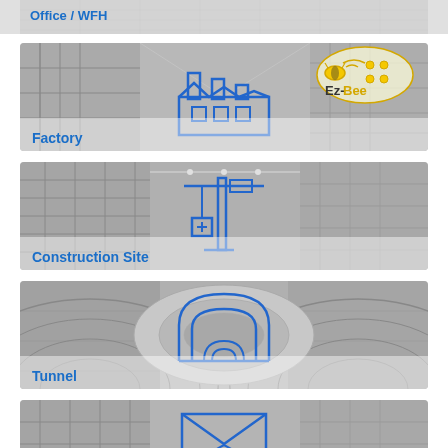Office / WFH
[Figure (illustration): Factory environment card with factory building icon and Ez-Bee logo in top right]
Factory
[Figure (illustration): Construction site environment card with crane/construction icon]
Construction Site
[Figure (illustration): Tunnel environment card with tunnel/arch icon]
Tunnel
[Figure (illustration): Warehouse environment card with envelope/warehouse icon (partially visible)]